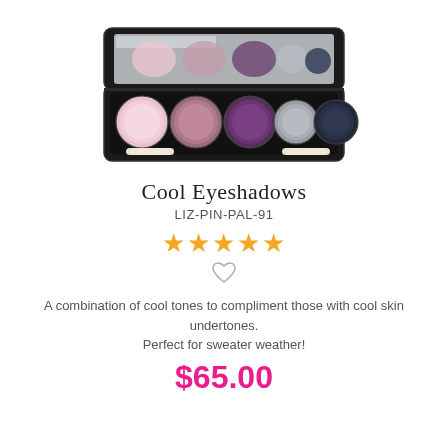[Figure (photo): An eyeshadow palette with 5 round pans in shades of pink, mauve, purple, silver/grey, and dark navy, displayed open with two applicator brushes, and a mirror in the lid. Black case.]
Cool Eyeshadows
LIZ-PIN-PAL-91
[Figure (other): Five gold/orange star rating icons]
[Figure (other): Heart icon (outline/unfilled)]
A combination of cool tones to compliment those with cool skin undertones. Perfect for sweater weather!
$65.00